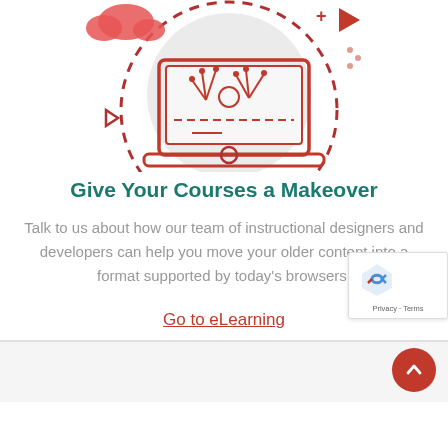[Figure (illustration): Red and grey line-art illustration of a laptop with fireworks/flowers on screen, surrounded by a dashed circle, with a cloud icon top-left and a triangle/arrow icon top-right]
Give Your Courses a Makeover
Talk to us about how our team of instructional designers and developers can help you move your older content into a format supported by today's browsers.
Go to eLearning